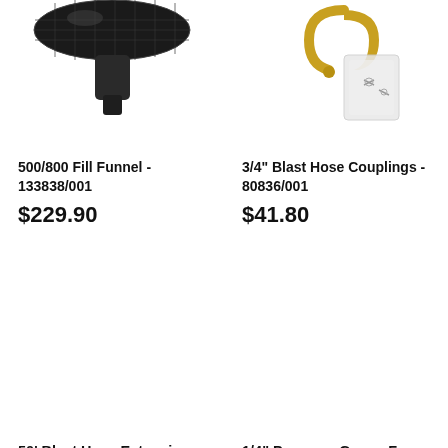[Figure (photo): Black mesh/grille fill funnel product photo on white background]
[Figure (photo): Brass blast hose couplings with small hardware bag on white background]
500/800 Fill Funnel - 133838/001
$229.90
3/4" Blast Hose Couplings - 80836/001
$41.80
[Figure (photo): 50 foot blast hose extension product photo (image area mostly white/blank)]
[Figure (photo): 1/4 inch pressure gauge product photo (image area mostly white/blank)]
50' Blast Hose Extension 1"
1/4" Pressure Gauge For